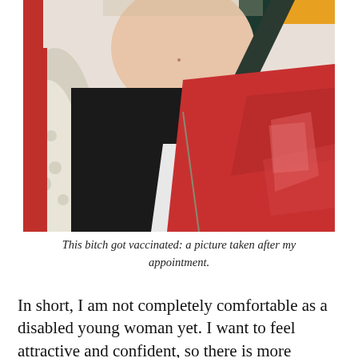[Figure (photo): A close-up selfie of a person in a car wearing a black shirt, red hoodie/sweatshirt with a zipper, and a sherpa-lined jacket, with a seatbelt across their chest. The photo is taken after a vaccination appointment.]
This bitch got vaccinated: a picture taken after my appointment.
In short, I am not completely comfortable as a disabled young woman yet. I want to feel attractive and confident, so there is more